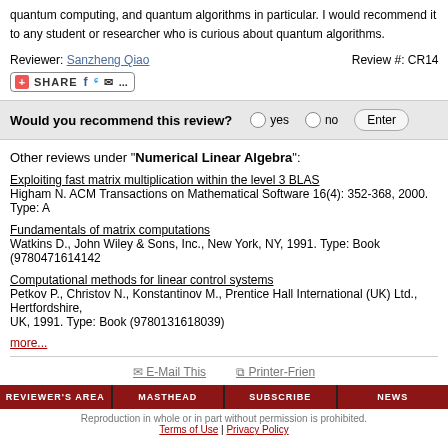quantum computing, and quantum algorithms in particular. I would recommend it to any student or researcher who is curious about quantum algorithms.
Reviewer: Sanzheng Qiao    Review #: CR1
Other reviews under "Numerical Linear Algebra":
Exploiting fast matrix multiplication within the level 3 BLAS
Higham N. ACM Transactions on Mathematical Software 16(4): 352-368, 2000. Type: A
Fundamentals of matrix computations
Watkins D., John Wiley & Sons, Inc., New York, NY, 1991. Type: Book (9780471614142
Computational methods for linear control systems
Petkov P., Christov N., Konstantinov M., Prentice Hall International (UK) Ltd., Hertfordshire, UK, 1991. Type: Book (9780131618039)
more...
E-Mail This    Printer-Frien
REVIEWER'S AREA  MASTHEAD  SUBSCRIBE  NEWS
Reproduction in whole or in part without permission is prohibited. Terms of Use | Privacy Policy